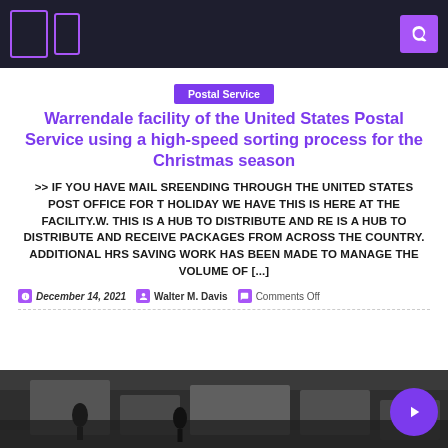Navigation bar with menu icons and search
Postal Service
Warrendale facility of the United States Postal Service using a high-speed sorting process for the Christmas season
>> IF YOU HAVE MAIL SREENDING THROUGH THE UNITED STATES POST OFFICE FOR T HOLIDAY WE HAVE THIS IS HERE AT THE FACILITY.W. THIS IS A HUB TO DISTRIBUTE AND RE IS A HUB TO DISTRIBUTE AND RECEIVE PACKAGES FROM ACROSS THE COUNTRY. ADDITIONAL HRS SAVING WORK HAS BEEN MADE TO MANAGE THE VOLUME OF [...]
December 14, 2021   Walter M. Davis   Comments Off
[Figure (photo): Bottom strip showing a postal facility or street scene photo]